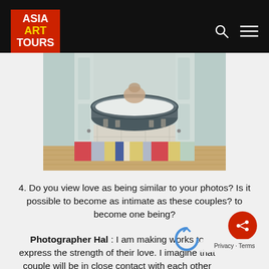ASIA ART TOURS
[Figure (photo): A bathroom scene showing a clawfoot bathtub with a person visible from behind, viewed through an open doorway. A colorful striped rug is in the foreground on a wooden floor.]
4. Do you view love as being similar to your photos? Is it possible to become as intimate as these couples? to become one being?
Photographer Hal : I am making works to express the strength of their love. I imagine that couple will be in close contact with each other eventually